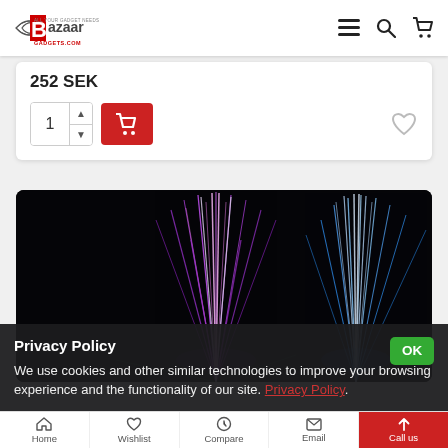Bazaar Gadgets - All Your Gadget Needs
252 SEK
[Figure (screenshot): Quantity selector with number 1, up/down arrows, and red add-to-cart button; heart/wishlist icon on right]
[Figure (photo): Fiber optic cables glowing in purple and blue colors against a dark black background]
Privacy Policy
We use cookies and other similar technologies to improve your browsing experience and the functionality of our site. Privacy Policy.
Home  Wishlist  Compare  Email  Call us